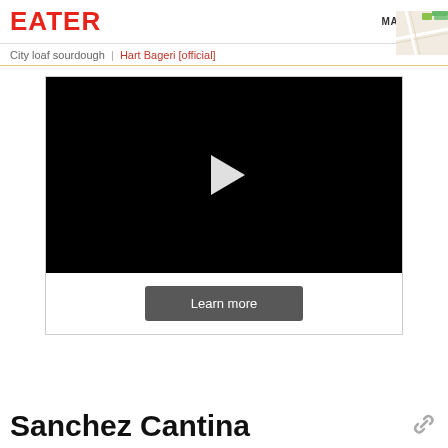EATER
[Figure (map): Small map thumbnail in top right corner with MAP VIEW label]
City loaf sourdough  |  Hart Bageri [official]
[Figure (screenshot): Black video player with white play button triangle in center, and a Learn more button below]
Sanchez Cantina